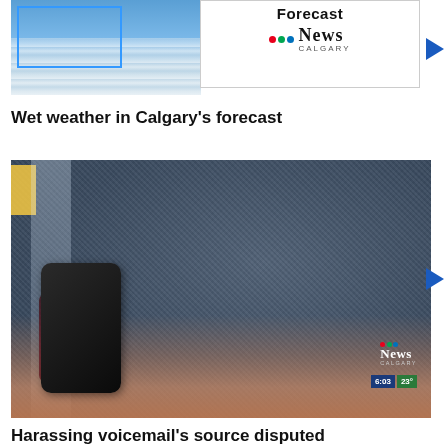[Figure (screenshot): Weather thumbnail showing cloudy blue sky with blue border box overlay and CTV News Calgary 'Forecast' panel on right with play arrow]
Wet weather in Calgary's forecast
[Figure (photo): Close-up photo of person in blue checkered shirt holding a smartphone, with CTV News Calgary logo and timestamp 6:03 23 overlaid in bottom right corner]
Harassing voicemail's source disputed